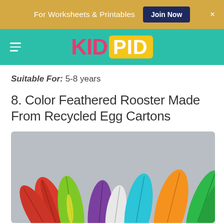For Worksheets & Printables  Join Now  ×
[Figure (logo): KidPid logo on teal navigation bar with hamburger menu icon]
Suitable For: 5-8 years
8. Color Feathered Rooster Made From Recycled Egg Cartons
[Figure (photo): Colorful feathers (red, green, purple, cyan, orange, green) on a gray background, used for a rooster craft project]